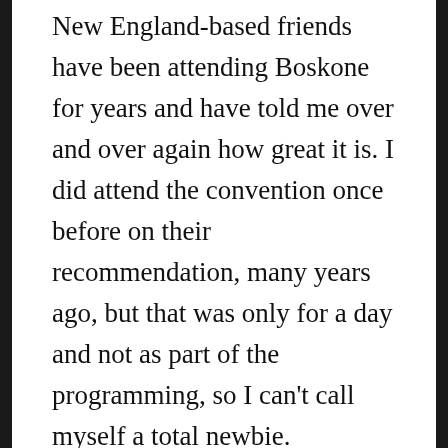New England-based friends have been attending Boskone for years and have told me over and over again how great it is. I did attend the convention once before on their recommendation, many years ago, but that was only for a day and not as part of the programming, so I can't call myself a total newbie. However, I look forward to experiencing Boskone from a more in-depth perspective this time around. Which brings me to the second factor, which is that the program committee very kindly invited me to take part this year, so don't let anyone tell you